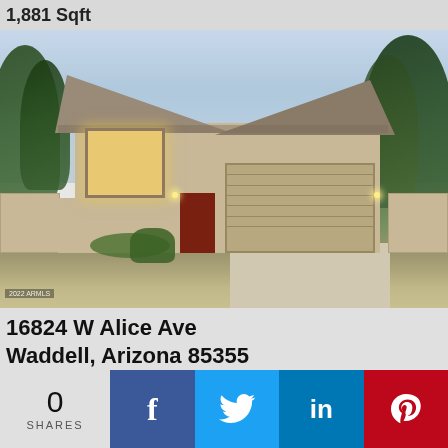1,881 Sqft
[Figure (photo): Exterior rendering of a single-story stucco house with tile roof, two-car garage, red front door, desert landscaping, at dusk. Watermark: 2022 ARMLS]
16824 W Alice Ave
Waddell, Arizona 85355
Northern Farms Waddell
0
SHARES